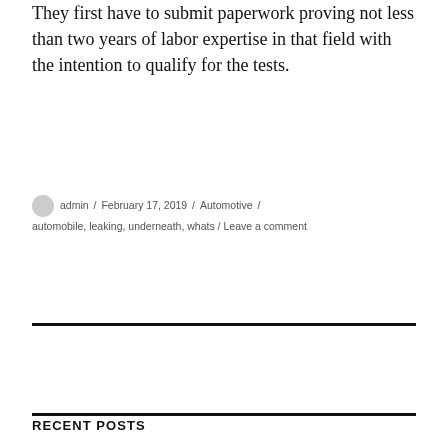They first have to submit paperwork proving not less than two years of labor expertise in that field with the intention to qualify for the tests.
admin / February 17, 2019 / Automotive / automobile, leaking, underneath, whats / Leave a comment
RECENT POSTS